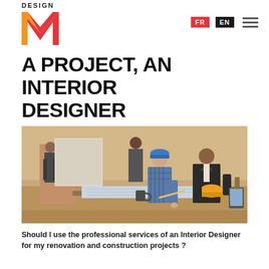DESIGN M
A PROJECT, AN INTERIOR DESIGNER
[Figure (photo): A woman in a blue hard hat and a man in a suit leaning over blueprints on a table at a construction site, with workers in the background carrying panels.]
Should I use the professional services of an Interior Designer for my renovation and construction projects ?